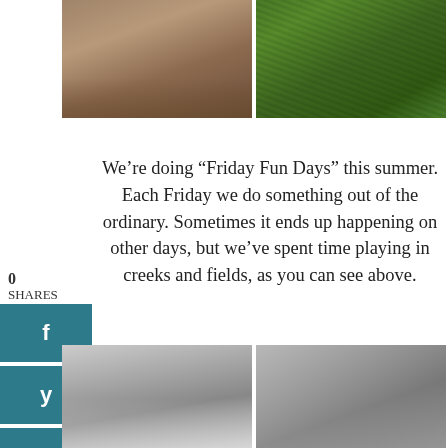[Figure (photo): Two outdoor photos side by side at top: left shows a child's feet near a creek/muddy water, right shows green grass field from above]
We’re doing “Friday Fun Days” this summer. Each Friday we do something out of the ordinary. Sometimes it ends up happening on other days, but we’ve spent time playing in creeks and fields, as you can see above.
[Figure (photo): Two black and white indoor photos side by side at bottom: left shows a child on a white couch, right shows two people playing a board game]